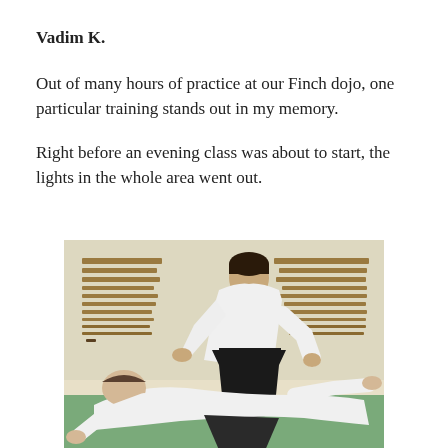Vadim K.
Out of many hours of practice at our Finch dojo, one particular training stands out in my memory.
Right before an evening class was about to start, the lights in the whole area went out.
[Figure (photo): Aikido training photo showing an instructor in white gi and black hakama performing a technique over a student who is falling backward, with wooden weapons displayed on the wall in the background.]